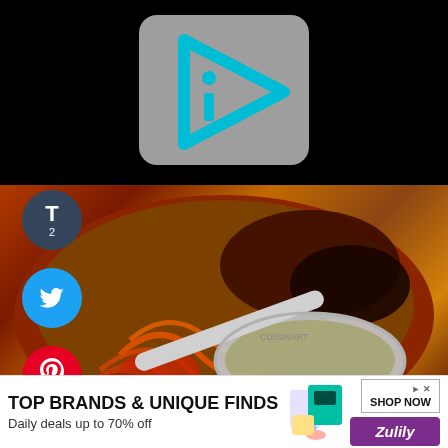[Figure (logo): iDiY-style logo: cyan play-button triangle with 'i' inside on grey rounded square background, on black background]
[Figure (photo): Close-up food photo of a bowl of Asian noodle soup with bright orange noodles, dark broth, and a metallic ladle/spoon, with reddish-orange sauce, viewed from above]
[Figure (logo): Tumblr share button, dark blue circle, letter T with count 2]
[Figure (logo): Twitter share button, cyan circle with bird icon]
[Figure (logo): Pinterest share button, red circle with P icon and count 50]
[Figure (logo): Yummly share button, orange-red circle with 'Yum' text]
TOP BRANDS & UNIQUE FINDS
Daily deals up to 70% off
[Figure (logo): Zulily advertisement with shop now button and product images]